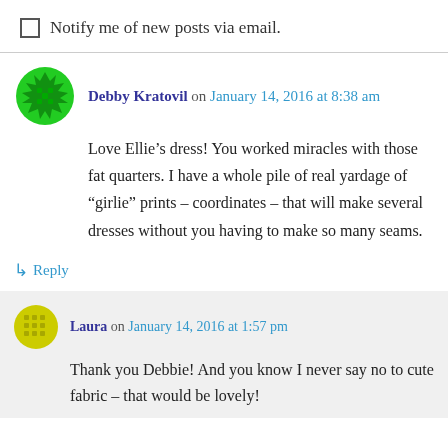Notify me of new posts via email.
Debby Kratovil on January 14, 2016 at 8:38 am
Love Ellie’s dress! You worked miracles with those fat quarters. I have a whole pile of real yardage of “girlie” prints – coordinates – that will make several dresses without you having to make so many seams.
↵ Reply
Laura on January 14, 2016 at 1:57 pm
Thank you Debbie! And you know I never say no to cute fabric – that would be lovely!